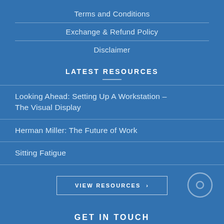Terms and Conditions
Exchange & Refund Policy
Disclaimer
LATEST RESOURCES
Looking Ahead: Setting Up A Workstation – The Visual Display
Herman Miller: The Future of Work
Sitting Fatigue
VIEW RESOURCES ›
GET IN TOUCH